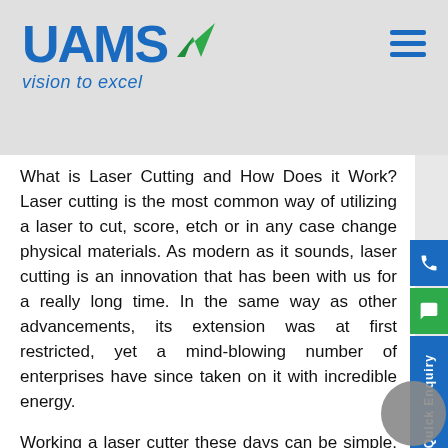UAMS – vision to excel
What is Laser Cutting and How Does it Work? Laser cutting is the most common way of utilizing a laser to cut, score, etch or in any case change physical materials. As modern as it sounds, laser cutting is an innovation that has been with us for a really long time. In the same way as other advancements, its extension was at first restricted, yet a mind-blowing number of enterprises have since taken on it with incredible energy.
Working a laser cutter these days can be simple. However, the actual innovation is the aftereffect of astonishing accomplishments of genius, the UI has developed in a user-friendly way. It is normal for specialists, school science homerooms and organizations to employ the utilization of laser cutters. They're not simply helpful - they are a fantastic method for finding out about optics and the properties of light.